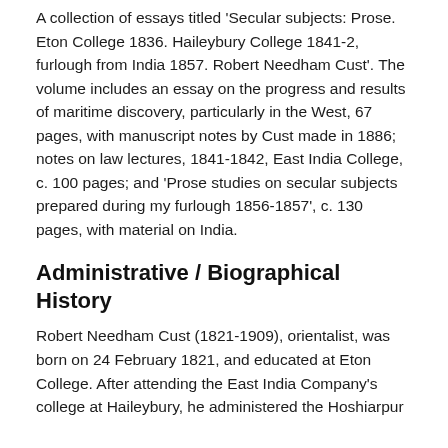A collection of essays titled 'Secular subjects: Prose. Eton College 1836. Haileybury College 1841-2, furlough from India 1857. Robert Needham Cust'. The volume includes an essay on the progress and results of maritime discovery, particularly in the West, 67 pages, with manuscript notes by Cust made in 1886; notes on law lectures, 1841-1842, East India College, c. 100 pages; and 'Prose studies on secular subjects prepared during my furlough 1856-1857', c. 130 pages, with material on India.
Administrative / Biographical History
Robert Needham Cust (1821-1909), orientalist, was born on 24 February 1821, and educated at Eton College. After attending the East India Company's college at Haileybury, he administered the Hoshiarpur